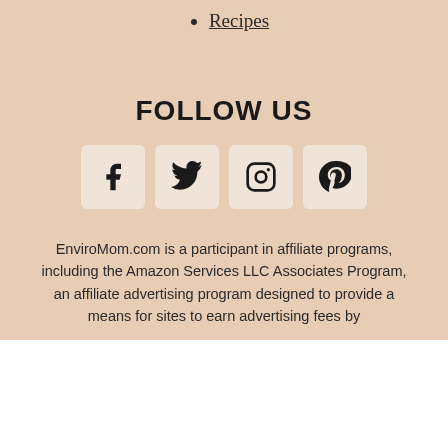Recipes
FOLLOW US
[Figure (infographic): Four social media icon buttons in rounded square boxes: Facebook, Twitter, Instagram, Pinterest]
EnviroMom.com is a participant in affiliate programs, including the Amazon Services LLC Associates Program, an affiliate advertising program designed to provide a means for sites to earn advertising fees by